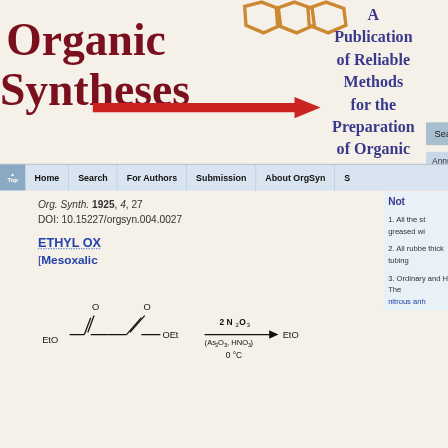[Figure (logo): Organic Syntheses logo with hexagonal structure and red arrow]
A Publication of Reliable Methods for the Preparation of Organic
Search
Annual T
Home | Search | For Authors | Submission | About OrgSyn | S
Org. Synth. 1925, 4, 27
DOI: 10.15227/orgsyn.004.0027
ETHYL OX
[Mesoxalic
[Figure (engineering-diagram): Chemical reaction scheme showing ethyl ester compound reacting with 2 N2O3 (As2O3, HNO3) at 0°C to form EtO product]
1. All the st greased wi
2. All rubbe thick tubing
3. Ordinary and H. The nitrous anh